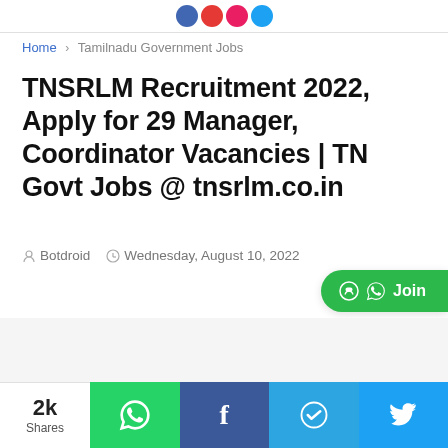[Logo/Social icons bar]
Home > Tamilnadu Government Jobs
TNSRLM Recruitment 2022, Apply for 29 Manager, Coordinator Vacancies | TN Govt Jobs @ tnsrlm.co.in
Botdroid  Wednesday, August 10, 2022
[Figure (other): WhatsApp Join button (green pill button, right side)]
[Figure (other): Advertisement/blank area]
2k Shares
[Figure (other): Social share bar with WhatsApp, Facebook, Telegram, Twitter buttons]